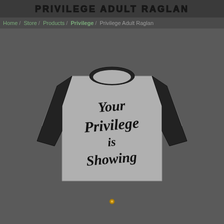PRIVILEGE ADULT RAGLAN
Home / Store / Products / Privilege / Privilege Adult Raglan
[Figure (photo): A raglan baseball-style long-sleeve shirt with black sleeves and a grey/white body. The front of the shirt reads 'Your Privilege is Showing' in black brush script lettering.]